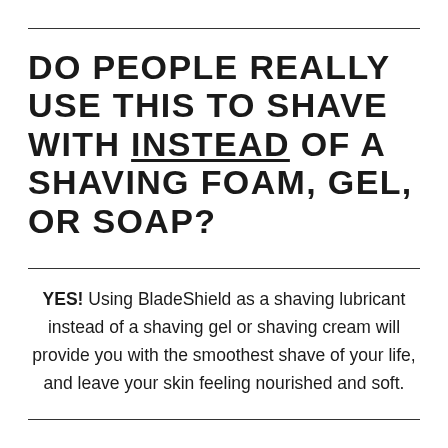DO PEOPLE REALLY USE THIS TO SHAVE WITH INSTEAD OF A SHAVING FOAM, GEL, OR SOAP?
YES! Using BladeShield as a shaving lubricant instead of a shaving gel or shaving cream will provide you with the smoothest shave of your life, and leave your skin feeling nourished and soft.